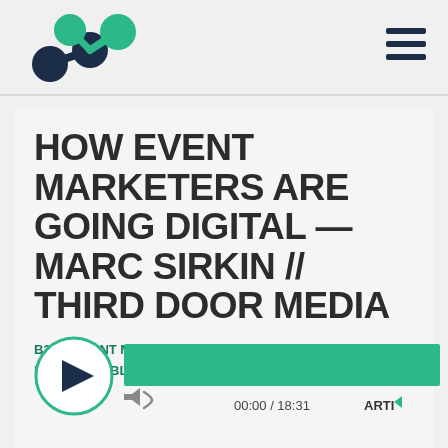[Figure (logo): Marketers Mastermind logo — stylized M made of connected circles in dark navy and green]
[Figure (other): Hamburger menu icon (three horizontal dark navy bars)]
HOW EVENT MARKETERS ARE GOING DIGITAL — MARC SIRKIN // THIRD DOOR MEDIA
B2B | EVENT MARKETING | MEDIA & PUBLISHING | MARKETING STRATEGY
[Figure (other): Audio player with play button circle (green outline with dark triangle), green progress bar, volume icon, time 00:00 / 18:31, and ARTIO badge]